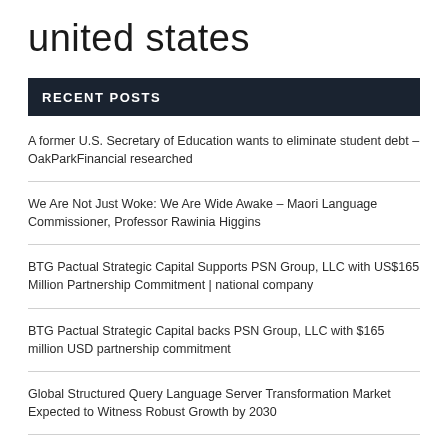united states
RECENT POSTS
A former U.S. Secretary of Education wants to eliminate student debt – OakParkFinancial researched
We Are Not Just Woke: We Are Wide Awake – Maori Language Commissioner, Professor Rawinia Higgins
BTG Pactual Strategic Capital Supports PSN Group, LLC with US$165 Million Partnership Commitment | national company
BTG Pactual Strategic Capital backs PSN Group, LLC with $165 million USD partnership commitment
Global Structured Query Language Server Transformation Market Expected to Witness Robust Growth by 2030